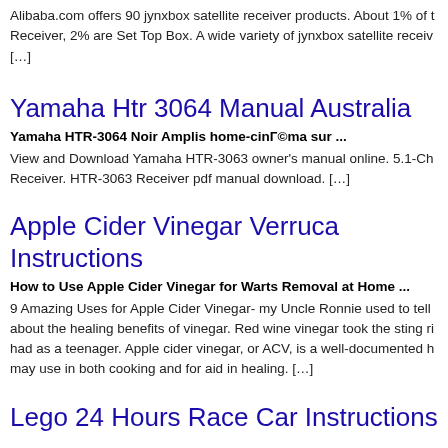Alibaba.com offers 90 jynxbox satellite receiver products. About 1% of these are Satellite TV Receiver, 2% are Set Top Box. A wide variety of jynxbox satellite receive [...]
Yamaha Htr 3064 Manual Australia
Yamaha HTR-3064 Noir Amplis home-cinéma sur ...
View and Download Yamaha HTR-3063 owner's manual online. 5.1-Ch Receiver. HTR-3063 Receiver pdf manual download. [...]
Apple Cider Vinegar Verruca Instructions
How to Use Apple Cider Vinegar for Warts Removal at Home ...
9 Amazing Uses for Apple Cider Vinegar- my Uncle Ronnie used to tell about the healing benefits of vinegar. Red wine vinegar took the sting ri had as a teenager. Apple cider vinegar, or ACV, is a well-documented h may use in both cooking and for aid in healing. [...]
Lego 24 Hours Race Car Instructions